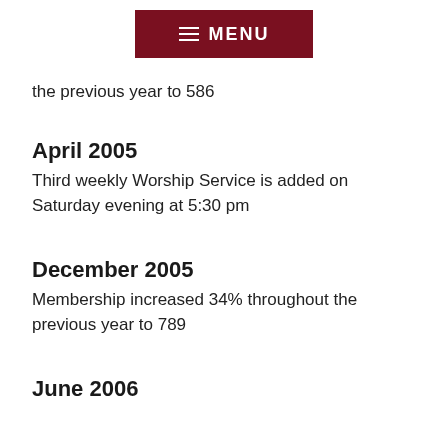MENU
the previous year to 586
April 2005
Third weekly Worship Service is added on Saturday evening at 5:30 pm
December 2005
Membership increased 34% throughout the previous year to 789
June 2006